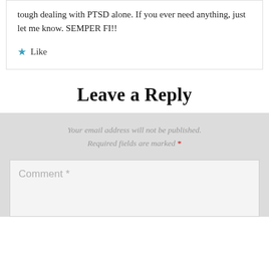tough dealing with PTSD alone. If you ever need anything, just let me know. SEMPER FI!!
★ Like
Leave a Reply
Your email address will not be published. Required fields are marked *
Comment *